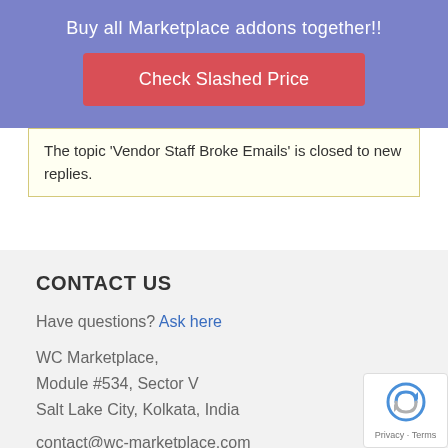Buy all Marketplace addons together!!
Check Slashed Price
The topic 'Vendor Staff Broke Emails' is closed to new replies.
CONTACT US
Have questions? Ask here
WC Marketplace,
Module #534, Sector V
Salt Lake City, Kolkata, India
contact@wc-marketplace.com
QUICK LINKS
[Figure (logo): reCAPTCHA badge with Privacy and Terms links]